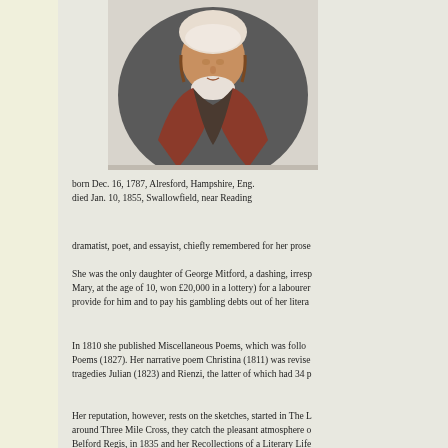[Figure (photo): Portrait painting of a woman in historical dress, wearing a bonnet/cap, with a reddish-brown shawl or cloak, set against a dark oval background]
born Dec. 16, 1787, Alresford, Hampshire, Eng.
died Jan. 10, 1855, Swallowfield, near Reading
dramatist, poet, and essayist, chiefly remembered for her prose
She was the only daughter of George Mitford, a dashing, irresp
Mary, at the age of 10, won £20,000 in a lottery) for a labourer
provide for him and to pay his gambling debts out of her litera
In 1810 she published Miscellaneous Poems, which was follo
Poems (1827). Her narrative poem Christina (1811) was revise
tragedies Julian (1823) and Rienzi, the latter of which had 34 p
Her reputation, however, rests on the sketches, started in The L
around Three Mile Cross, they catch the pleasant atmosphere o
Belford Regis, in 1835 and her Recollections of a Literary Life